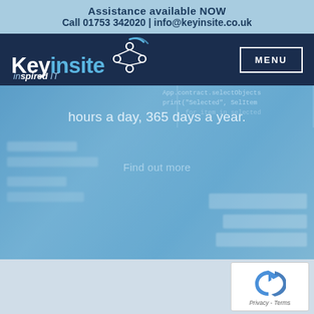Assistance available NOW
Call 01753 342020 | info@keyinsite.co.uk
[Figure (logo): Key insite inspired IT logo with network/node icon, white text on dark navy background, with MENU button top right]
[Figure (screenshot): Hero banner with blurred code background in blue tones. Text reads: hours a day, 365 days a year. Find out more]
[Figure (other): reCAPTCHA widget with blue arrow icon and Privacy - Terms text, bottom right corner on light grey background]